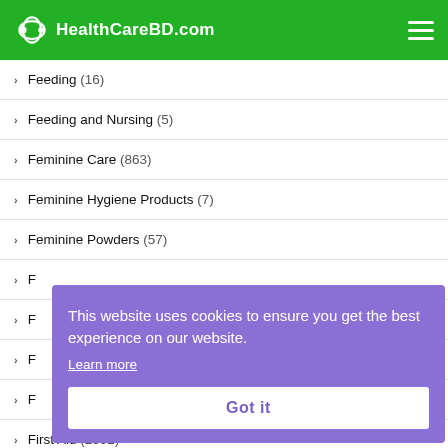HealthCareBD.com
Feeding (16)
Feeding and Nursing (5)
Feminine Care (863)
Feminine Hygiene Products (7)
Feminine Powders (57)
F...
F...
F...
F...
First Aid (2592)
This website uses cookies to ensure you get the best experience on our website. Learn more
Got it